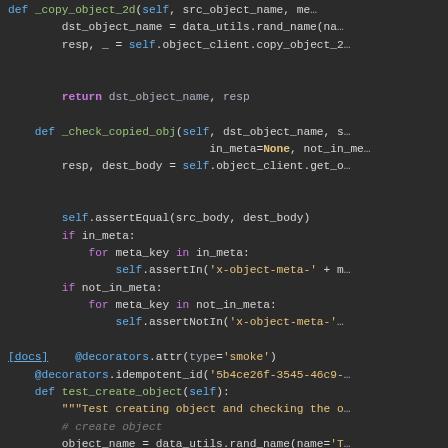[Figure (screenshot): Python source code screenshot on dark background showing methods _copy_object_2d, _check_copied_obj, and test_create_object with syntax highlighting]